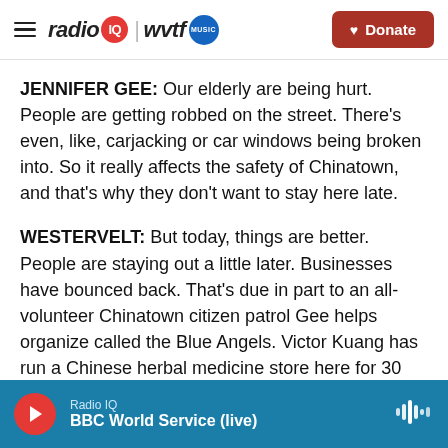radio IQ | wvtf MUSIC — Donate
JENNIFER GEE: Our elderly are being hurt. People are getting robbed on the street. There's even, like, carjacking or car windows being broken into. So it really affects the safety of Chinatown, and that's why they don't want to stay here late.
WESTERVELT: But today, things are better. People are staying out a little later. Businesses have bounced back. That's due in part to an all-volunteer Chinatown citizen patrol Gee helps organize called the Blue Angels. Victor Kuang has run a Chinese herbal medicine store here for 30 years. He got
Radio IQ — BBC World Service (live)